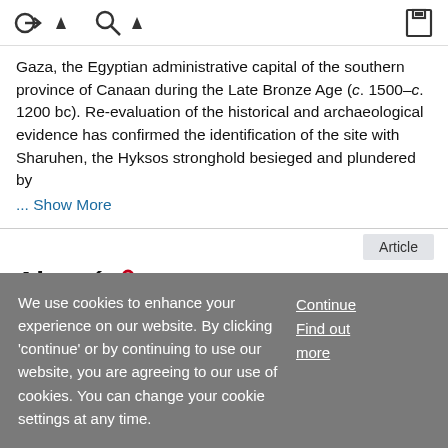Navigation and search toolbar
Gaza, the Egyptian administrative capital of the southern province of Canaan during the Late Bronze Age (c. 1500–c. 1200 bc). Re-evaluation of the historical and archaeological evidence has confirmed the identification of the site with Sharuhen, the Hyksos stronghold besieged and plundered by
... Show More
Article
Ajouré
Gordon Campbell
We use cookies to enhance your experience on our website. By clicking 'continue' or by continuing to use our website, you are agreeing to our use of cookies. You can change your cookie settings at any time.
Continue
Find out more